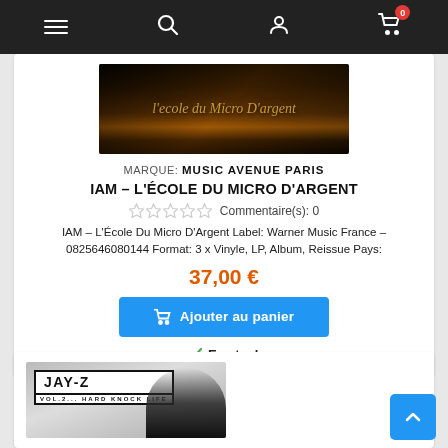Navigation bar with menu, search, account, and cart (0 items) icons
[Figure (photo): Album cover: L'École du Micro d'Argent by IAM — dark background with orange/gold stylized text]
MARQUE: MUSIC AVENUE PARIS
IAM – L'ÉCOLE DU MICRO D'ARGENT
☆☆☆☆☆  Commentaire(s): 0
IAM – L'École Du Micro D'Argent Label: Warner Music France – 0825646080144 Format: 3 x Vinyle, LP, Album, Reissue Pays:
37,00 €
Ajouter au panier
En stock
[Figure (photo): Partial album cover: Jay-Z Vol. 2... Hard Knock Life — person in dark clothing with album logo]